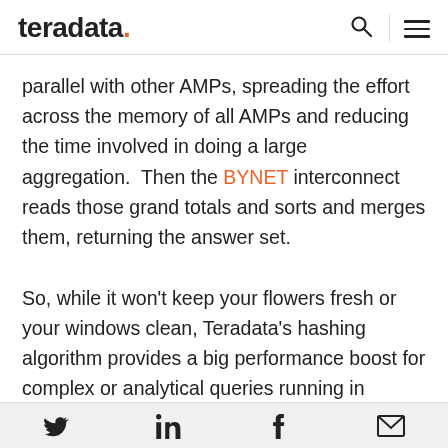teradata.
parallel with other AMPs, spreading the effort across the memory of all AMPs and reducing the time involved in doing a large aggregation.  Then the BYNET interconnect reads those grand totals and sorts and merges them, returning the answer set.

So, while it won't keep your flowers fresh or your windows clean, Teradata's hashing algorithm provides a big performance boost for complex or analytical queries running in Advanced SQL
Twitter | LinkedIn | Facebook | Email